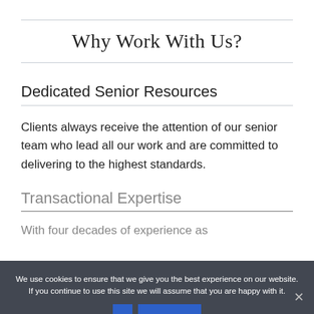Why Work With Us?
Dedicated Senior Resources
Clients always receive the attention of our senior team who lead all our work and are committed to delivering to the highest standards.
Transactional Expertise
With four decades of experience as
We use cookies to ensure that we give you the best experience on our website. If you continue to use this site we will assume that you are happy with it.